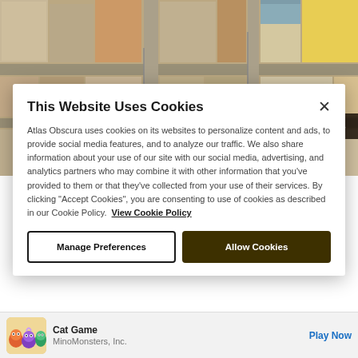[Figure (photo): Aerial view of a dense urban area with low-rise buildings, streets, and signage visible. 'VIEW ALL PHOTOS' button overlaid in top-right corner.]
This Website Uses Cookies
Atlas Obscura uses cookies on its websites to personalize content and ads, to provide social media features, and to analyze our traffic. We also share information about your use of our site with our social media, advertising, and analytics partners who may combine it with other information that you've provided to them or that they've collected from your use of their services. By clicking "Accept Cookies", you are consenting to use of cookies as described in our Cookie Policy. View Cookie Policy
Manage Preferences
Allow Cookies
[Figure (illustration): Ad banner: Cat Game by MinoMonsters, Inc. with colorful monster characters icon. Play Now CTA in blue.]